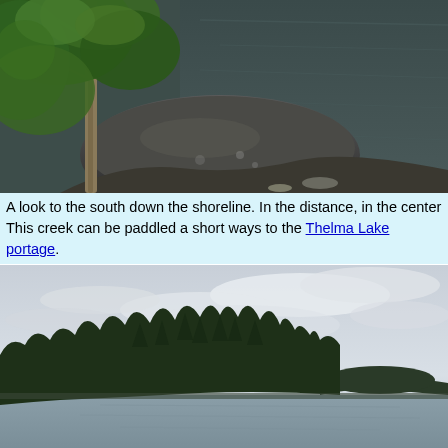[Figure (photo): A lakeside scene viewed from above showing a large rounded rock at the shoreline with birch trees and green foliage in the foreground and dark calm water extending to the right.]
A look to the south down the shoreline. In the distance, in the center This creek can be paddled a short ways to the Thelma Lake portage.
[Figure (photo): A wide lake panorama with a dense conifer forest treeline on the left and a distant forested island or peninsula on the right under an overcast cloudy sky.]